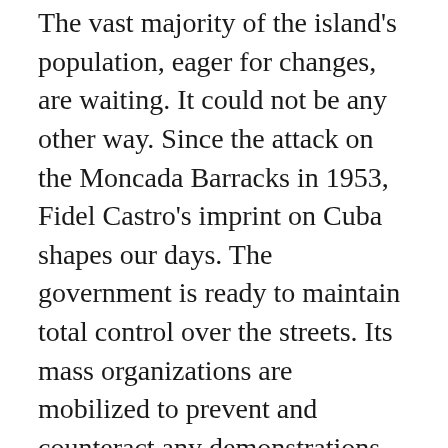The vast majority of the island's population, eager for changes, are waiting. It could not be any other way. Since the attack on the Moncada Barracks in 1953, Fidel Castro's imprint on Cuba shapes our days. The government is ready to maintain total control over the streets. Its mass organizations are mobilized to prevent and counteract any demonstrations against him.
But like the myth, his charisma and his influence are not inherited. We can affirm that a political cycle in Cuba has ended: the eclectic sum of conceptions that make up Fidelism, populism, authoritarianism, neo-Stalinism, statism and bureaucratism, just received a mortal blow. A stage of inevitable changes